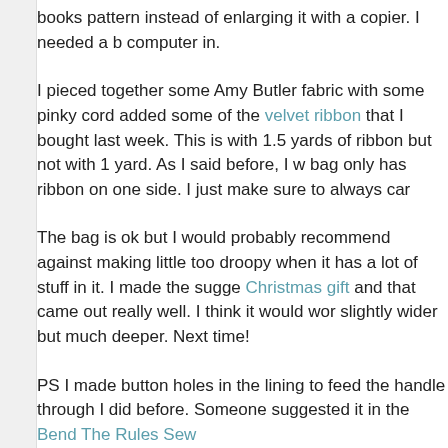books pattern instead of enlarging it with a copier. I needed a b computer in.
I pieced together some Amy Butler fabric with some pinky cord added some of the velvet ribbon that I bought last week. This is with 1.5 yards of ribbon but not with 1 yard. As I said before, I w bag only has ribbon on one side. I just make sure to always car
The bag is ok but I would probably recommend against making little too droopy when it has a lot of stuff in it. I made the sugge Christmas gift and that came out really well. I think it would wor slightly wider but much deeper. Next time!
PS I made button holes in the lining to feed the handle through I did before. Someone suggested it in the Bend The Rules Sew
Posted by Liz Harvatine at 2:00 PM
Labels: sewing
7 comments: